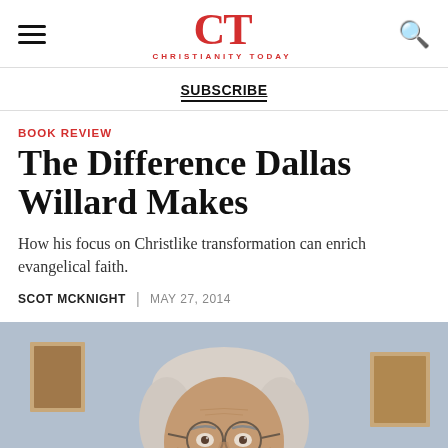CT CHRISTIANITY TODAY
SUBSCRIBE
BOOK REVIEW
The Difference Dallas Willard Makes
How his focus on Christlike transformation can enrich evangelical faith.
SCOT MCKNIGHT | MAY 27, 2014
[Figure (photo): Portrait photo of an elderly man with silver hair and wire-rimmed glasses, looking directly at the camera, with a blurred blue-gray background.]